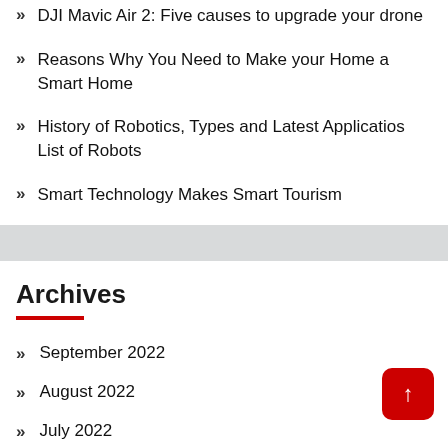DJI Mavic Air 2: Five causes to upgrade your drone
Reasons Why You Need to Make your Home a Smart Home
History of Robotics, Types and Latest Applicatios List of Robots
Smart Technology Makes Smart Tourism
Archives
September 2022
August 2022
July 2022
June 2022